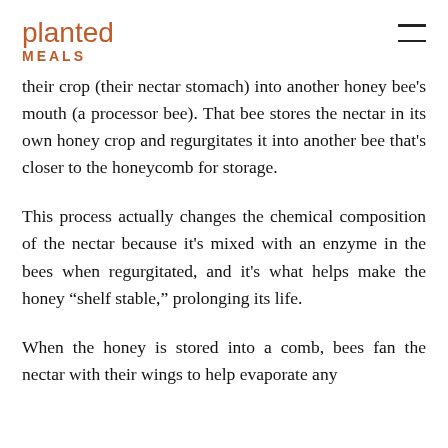planted MEALS
their crop (their nectar stomach) into another honey bee's mouth (a processor bee). That bee stores the nectar in its own honey crop and regurgitates it into another bee that's closer to the honeycomb for storage.
This process actually changes the chemical composition of the nectar because it's mixed with an enzyme in the bees when regurgitated, and it's what helps make the honey “shelf stable,” prolonging its life.
When the honey is stored into a comb, bees fan the nectar with their wings to help evaporate any